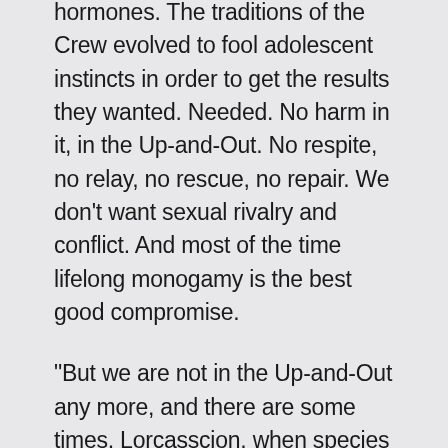hormones. The traditions of the Crew evolved to fool adolescent instincts in order to get the results they wanted. Needed. No harm in it, in the Up-and-Out. No respite, no relay, no rescue, no repair. We don't want sexual rivalry and conflict. And most of the time lifelong monogamy is the best good compromise.
"But we are not in the Up-and-Out any more, and there are some times, Lorcasscion, when species survival is best served by as much fucking as possible. This is very much one of those times. And you did nothing. You are no-one special. You just happen to retain some ancient genetic tricks that everyone here has lost. And you